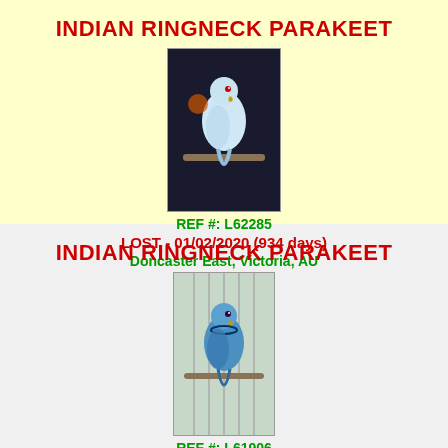INDIAN RINGNECK PARAKEET
[Figure (photo): Photo of a white/blue Indian Ringneck Parakeet perched on a bar inside a cage, dark background]
REF #: L62285
LOST - 01/02/2020 (934 days)
Doncaster East, Victoria, AU
19.8 kms
INDIAN RINGNECK PARAKEET
[Figure (photo): Photo of a blue/green Indian Ringneck Parakeet perched, light background]
REF #: L61906
LOST - 08/01/2020 (958 days)
Frankston, Victoria, AU